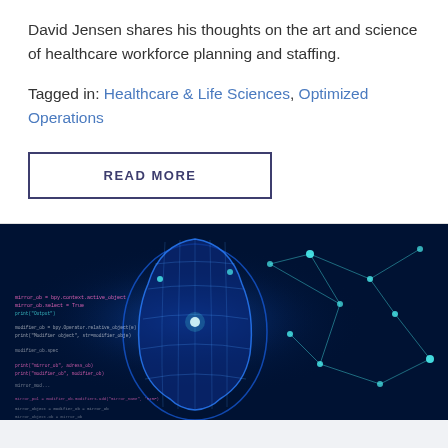David Jensen shares his thoughts on the art and science of healthcare workforce planning and staffing.
Tagged in: Healthcare & Life Sciences, Optimized Operations
READ MORE
[Figure (photo): A glowing blue digital human head silhouette surrounded by computer code and network connection lines on a dark blue background, representing artificial intelligence and technology.]